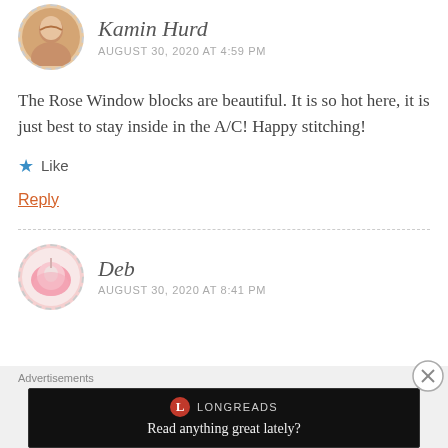[Figure (photo): Circular avatar photo of a woman (Kamin Hurd), cropped at top]
Kamin Hurd
AUGUST 30, 2020 AT 4:59 PM
The Rose Window blocks are beautiful. It is so hot here, it is just best to stay inside in the A/C! Happy stitching!
★ Like
Reply
[Figure (photo): Circular avatar photo of a pink flower (Deb)]
Deb
AUGUST 30, 2020 AT 8:41 PM
Advertisements
[Figure (other): Longreads advertisement banner with logo and tagline 'Read anything great lately?']